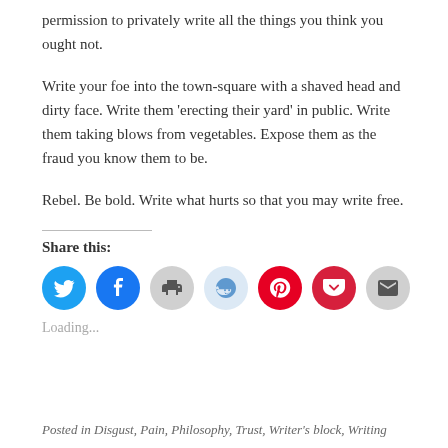permission to privately write all the things you think you ought not.
Write your foe into the town-square with a shaved head and dirty face. Write them ‘erecting their yard’ in public. Write them taking blows from vegetables. Expose them as the fraud you know them to be.
Rebel. Be bold. Write what hurts so that you may write free.
Share this:
[Figure (infographic): Row of social share icon buttons: Twitter (blue), Facebook (blue), Print (gray), Reddit (light blue), Pinterest (red), Pocket (dark red), Email (gray)]
Loading...
Posted in Disgust, Pain, Philosophy, Trust, Writer’s block, Writing